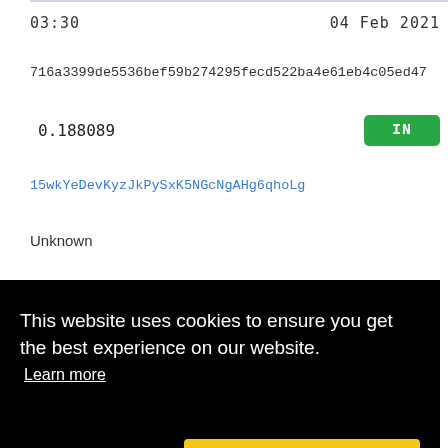03:30
04 Feb 2021
716a3399de5536bef59b274295fecd522ba4e61eb4c05ed47
0.188089
IN
15wkYeDevKyzJkPySxK5NGcNgAHg6qhoLg
Unknown
2021
ac34c2
This website uses cookies to ensure you get the best experience on our website. Learn more
Decline
Allow cookies
Fee